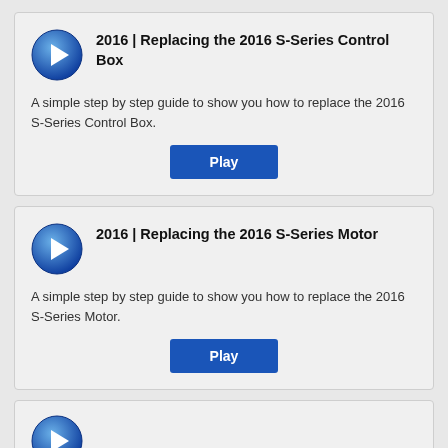[Figure (other): Video tutorial card: 2016 | Replacing the 2016 S-Series Control Box with play button icon and Play button]
[Figure (other): Video tutorial card: 2016 | Replacing the 2016 S-Series Motor with play button icon and Play button]
[Figure (other): Partially visible third video tutorial card at bottom of page]